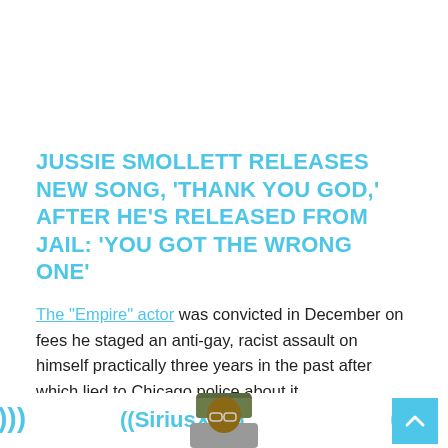JUSSIE SMOLLETT RELEASES NEW SONG, 'THANK YOU GOD,' AFTER HE'S RELEASED FROM JAIL: 'YOU GOT THE WRONG ONE'
The "Empire" actor was convicted in December on fees he staged an anti-gay, racist assault on himself practically three years in the past after which lied to Chicago police about it.
[Figure (photo): Photo of Jussie Smollett at a SiriusXM event, wearing an olive bucket hat and glasses, smiling, with SiriusXM logos visible in the background]